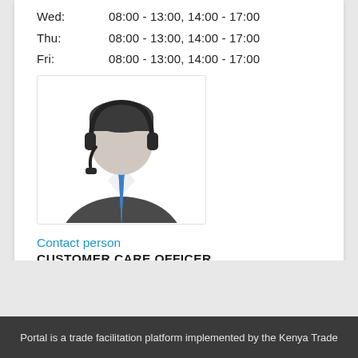Wed:  08:00 - 13:00, 14:00 - 17:00
Thu:  08:00 - 13:00, 14:00 - 17:00
Fri:  08:00 - 13:00, 14:00 - 17:00
[Figure (illustration): A customer care agent / call center person icon: a silhouette of a person in a dark suit with a blue tie and a headset with microphone]
Contact person
CUSTOMER CARE OFFICER
Customer Care Officer
Portal is a trade facilitation platform implemented by the Kenya Trade